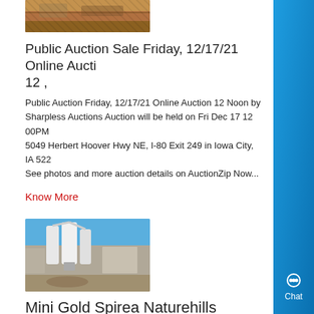[Figure (photo): Construction or excavation site photo, reddish-brown earth tones]
Public Auction Sale Friday, 12/17/21 Online Auction 12 ,
Public Auction Friday, 12/17/21 Online Auction 12 Noon by Sharpless Auctions Auction will be held on Fri Dec 17 12 00PM 5049 Herbert Hoover Hwy NE, I-80 Exit 249 in Iowa City, IA 522 See photos and more auction details on AuctionZip Now...
Know More
[Figure (photo): Industrial facility with large white cylindrical silos or dust collectors against a blue sky, building in background]
Mini Gold Spirea Naturehills
Mini Gold is a miniature version of the deciduous Goldmound